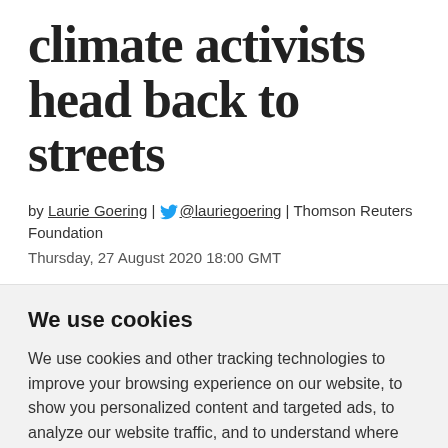climate activists head back to streets
by Laurie Goering | @lauriegoering | Thomson Reuters Foundation
Thursday, 27 August 2020 18:00 GMT
We use cookies
We use cookies and other tracking technologies to improve your browsing experience on our website, to show you personalized content and targeted ads, to analyze our website traffic, and to understand where our visitors are coming from.